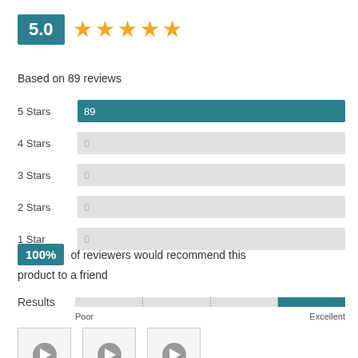[Figure (infographic): Rating score 5.0 in teal box with 5 gold stars]
Based on 89 reviews
[Figure (bar-chart): Star rating distribution]
100% of reviewers would recommend this product to a friend
[Figure (infographic): Results slider from Poor to Excellent, indicator at Excellent end]
[Figure (photo): Three video thumbnails with play buttons]